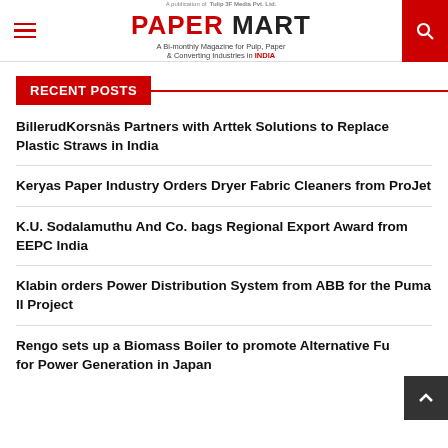PAPER MART — A Bi-monthly Magazine for Pulp, Paper & Converting Industries in INDIA
RECENT POSTS
BillerudKorsnäs Partners with Arttek Solutions to Replace Plastic Straws in India
Keryas Paper Industry Orders Dryer Fabric Cleaners from ProJet
K.U. Sodalamuthu And Co. bags Regional Export Award from EEPC India
Klabin orders Power Distribution System from ABB for the Puma II Project
Rengo sets up a Biomass Boiler to promote Alternative Fuels for Power Generation in Japan